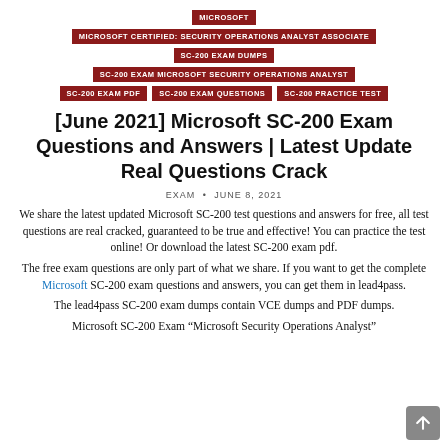MICROSOFT
MICROSOFT CERTIFIED: SECURITY OPERATIONS ANALYST ASSOCIATE
SC-200 EXAM DUMPS
SC-200 EXAM MICROSOFT SECURITY OPERATIONS ANALYST
SC-200 EXAM PDF
SC-200 EXAM QUESTIONS
SC-200 PRACTICE TEST
[June 2021] Microsoft SC-200 Exam Questions and Answers | Latest Update Real Questions Crack
EXAM • JUNE 8, 2021
We share the latest updated Microsoft SC-200 test questions and answers for free, all test questions are real cracked, guaranteed to be true and effective! You can practice the test online! Or download the latest SC-200 exam pdf.
The free exam questions are only part of what we share. If you want to get the complete Microsoft SC-200 exam questions and answers, you can get them in lead4pass.
The lead4pass SC-200 exam dumps contain VCE dumps and PDF dumps.
Microsoft SC-200 Exam "Microsoft Security Operations Analyst"